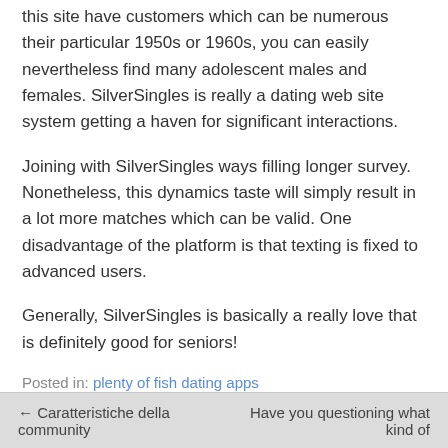this site have customers which can be numerous their particular 1950s or 1960s, you can easily nevertheless find many adolescent males and females. SilverSingles is really a dating web site system getting a haven for significant interactions.
Joining with SilverSingles ways filling longer survey. Nonetheless, this dynamics taste will simply result in a lot more matches which can be valid. One disadvantage of the platform is that texting is fixed to advanced users.
Generally, SilverSingles is basically a really love that is definitely good for seniors!
Posted in: plenty of fish dating apps
← Caratteristiche della community   Have you questioning what kind of